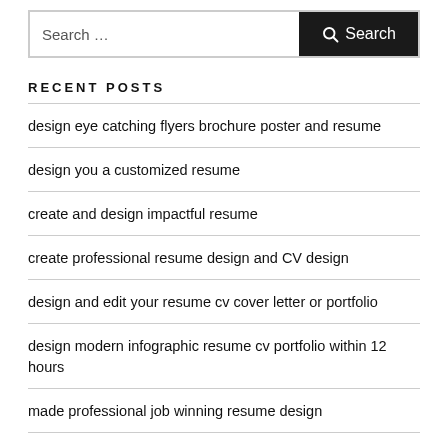[Figure (other): Search bar with text input 'Search …' and dark Search button with magnifying glass icon]
RECENT POSTS
design eye catching flyers brochure poster and resume
design you a customized resume
create and design impactful resume
create professional resume design and CV design
design and edit your resume cv cover letter or portfolio
design modern infographic resume cv portfolio within 12 hours
made professional job winning resume design
design resume CV by lorem or similar